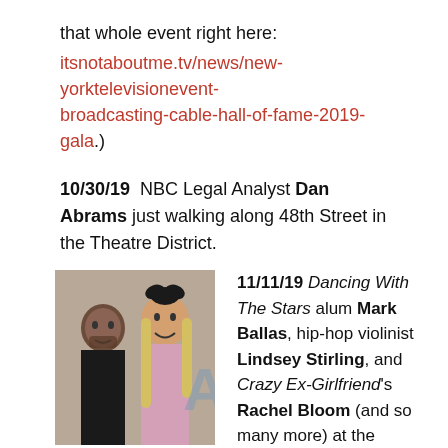that whole event right here:
itsnotaboutme.tv/news/new-yorktelevisionevent-broadcasting-cable-hall-of-fame-2019-gala.)
10/30/19  NBC Legal Analyst Dan Abrams just walking along 48th Street in the Theatre District.
Then back to LA:
[Figure (photo): Two people posing excitedly at what appears to be an entertainment event. A man with a beard on the left and a woman with a large bow in her hair on the right.]
11/11/19 Dancing With The Stars alum Mark Ballas, hip-hop violinist Lindsey Stirling, and Crazy Ex-Girlfriend's Rachel Bloom (and so many more) at the